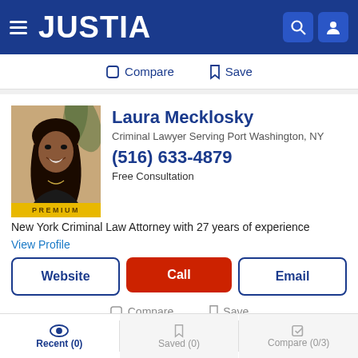JUSTIA
Compare   Save
Laura Mecklosky
Criminal Lawyer Serving Port Washington, NY
(516) 633-4879
Free Consultation
PREMIUM
New York Criminal Law Attorney with 27 years of experience
View Profile
Website   Call   Email
Compare   Save
Recent (0)   Saved (0)   Compare (0/3)